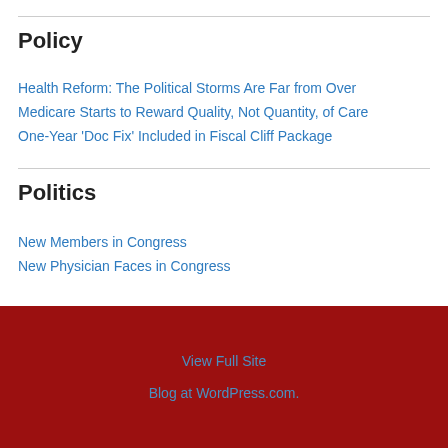Policy
Health Reform: The Political Storms Are Far from Over
Medicare Starts to Reward Quality, Not Quantity, of Care
One-Year 'Doc Fix' Included in Fiscal Cliff Package
Politics
New Members in Congress
New Physician Faces in Congress
View Full Site
Blog at WordPress.com.